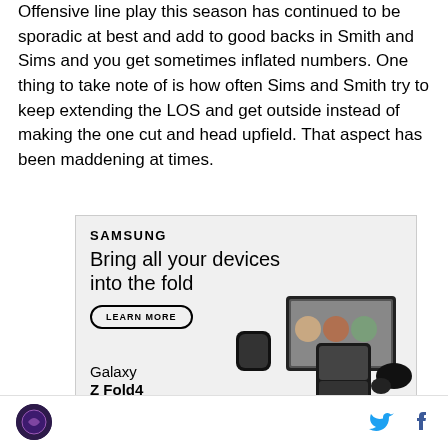Offensive line play this season has continued to be sporadic at best and add to good backs in Smith and Sims and you get sometimes inflated numbers. One thing to take note of is how often Sims and Smith try to keep extending the LOS and get outside instead of making the one cut and head upfield. That aspect has been maddening at times.
[Figure (other): Samsung advertisement: 'Bring all your devices into the fold' with a LEARN MORE button, showing Galaxy Z Fold4 phone, smartwatch, and earbuds]
Site logo and social media icons (Twitter, Facebook)